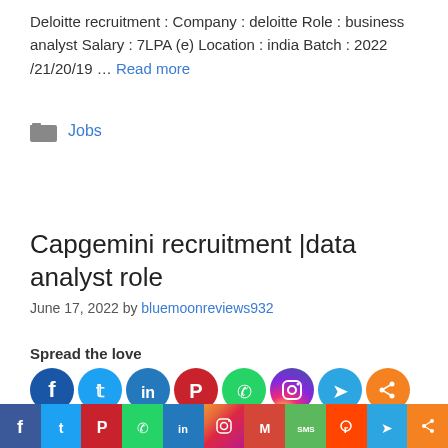Deloitte recruitment : Company : deloitte Role : business analyst Salary : 7LPA (e) Location : india Batch : 2022 /21/20/19 … Read more
Jobs
Capgemini recruitment |data analyst role
June 17, 2022 by bluemoonreviews932
Spread the love
[Figure (other): Social sharing icons row: Facebook (blue), Twitter (blue), LinkedIn (blue), Pinterest (red), WhatsApp (green), Instagram (gradient), Telegram (blue), Share (orange)]
Spread the love Capgemini recruitment for the role of D
[Figure (other): Bottom social sharing bar: Facebook (blue), Twitter (blue), Pinterest (red), WhatsApp (green), LinkedIn (blue/green), Instagram (gradient), Gmail (red), SMS (green), Reddit (orange-red), Telegram (blue), Share (orange)]